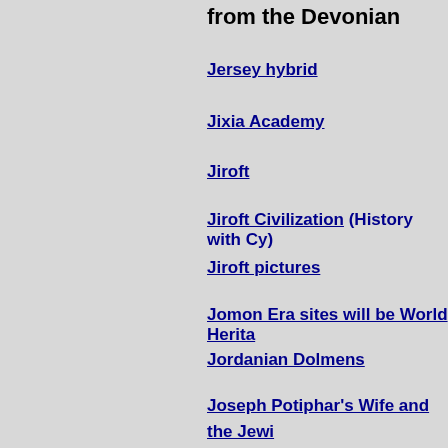from the Devonian
Jersey hybrid
Jixia Academy
Jiroft
Jiroft Civilization (History with Cy)
Jiroft pictures
Jomon Era sites will be World Herita...
Jordanian Dolmens
Joseph Potiphar's Wife and the Jewi... - The Famine Stela - The Elephanine Papyri
Jung and the collective unconscious... - Inherited Memory